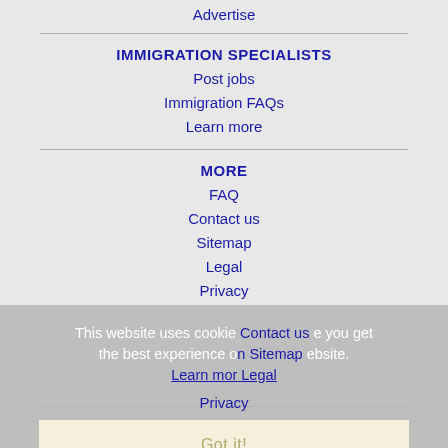Advertise
IMMIGRATION SPECIALISTS
Post jobs
Immigration FAQs
Learn more
MORE
FAQ
Contact us
Sitemap
Legal
Privacy
This website uses cookies to ensure you get the best experience on our website.
Learn more
Got it!
NEARBY CITIES
Allen, TX Jobs